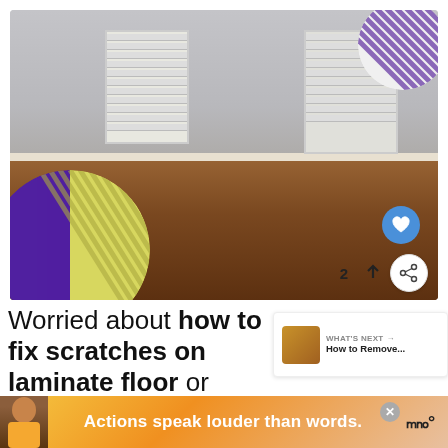[Figure (photo): Empty room interior with laminate wood flooring, gray walls, white window blinds on two windows, with decorative purple and yellow/green striped circle overlays on corners]
Worried about how to fix scratches on laminate floor or unable to find a guide online? Then you have landed at the right place.
[Figure (screenshot): WHAT'S NEXT card showing a thumbnail and text: How to Remove...]
[Figure (infographic): Ad banner with person illustration and text: Actions speak louder than words.]